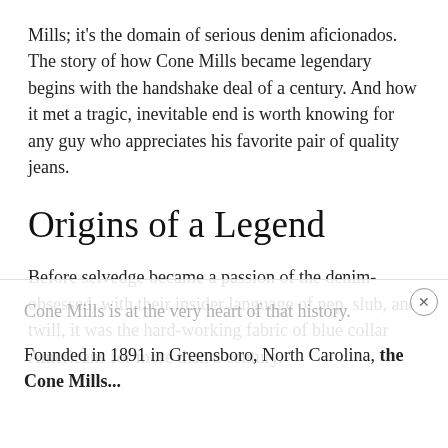Mills; it's the domain of serious denim aficionados. The story of how Cone Mills became legendary begins with the handshake deal of a century. And how it met a tragic, inevitable end is worth knowing for any guy who appreciates his favorite pair of quality jeans.
Origins of a Legend
Before selvedge became a passion of the denim-obsessed, with their insider language of nep, slub, and twill, it was the hard-working fabric of blue collar Americans for more than a century.
Cone Mills is at the very heart of that history.
Founded in 1891 in Greensboro, North Carolina, the Cone Mills...